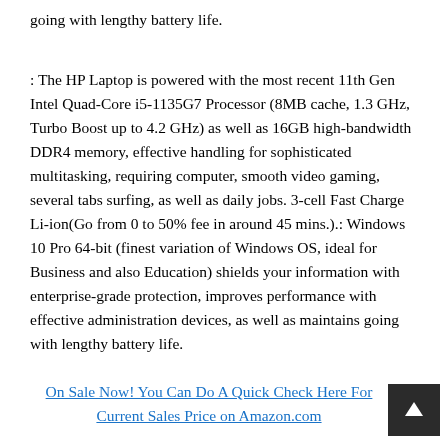going with lengthy battery life.
: The HP Laptop is powered with the most recent 11th Gen Intel Quad-Core i5-1135G7 Processor (8MB cache, 1.3 GHz, Turbo Boost up to 4.2 GHz) as well as 16GB high-bandwidth DDR4 memory, effective handling for sophisticated multitasking, requiring computer, smooth video gaming, several tabs surfing, as well as daily jobs. 3-cell Fast Charge Li-ion(Go from 0 to 50% fee in around 45 mins.).: Windows 10 Pro 64-bit (finest variation of Windows OS, ideal for Business and also Education) shields your information with enterprise-grade protection, improves performance with effective administration devices, as well as maintains going with lengthy battery life.
On Sale Now! You Can Do A Quick Check Here For Current Sales Price on Amazon.com